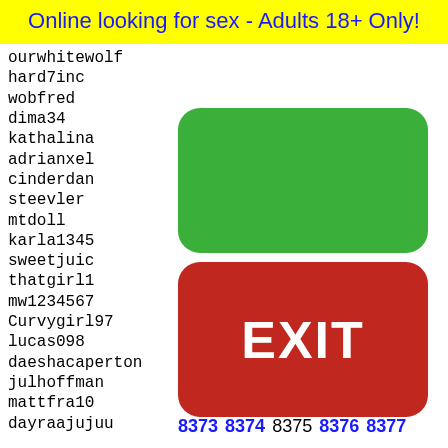Online looking for sex - Adults 18+ Only!
ourwhitewolf
hard7inc
wobfred
dima34
kathalina
adrianxel
cinderdan
steevler
mtdoll
karla1345
sweetjuic
thatgirl1
mw1234567
Curvygirl97
lucas098
daeshacaperton
julhoffman
mattfra10
dayraajujuu
mazda6
pia666
drunkb
aki230
chiii1
carolm
[Figure (other): Green rounded rectangle button]
[Figure (other): Red rounded rectangle EXIT button]
8373 8374 8375 8376 8377
[Figure (illustration): Yellow rounded rectangle with dot grid pattern and partial face/emoji at bottom, black border]